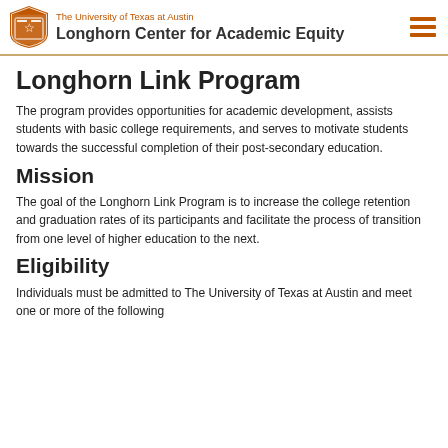The University of Texas at Austin Longhorn Center for Academic Equity
Longhorn Link Program
The program provides opportunities for academic development, assists students with basic college requirements, and serves to motivate students towards the successful completion of their post-secondary education.
Mission
The goal of the Longhorn Link Program is to increase the college retention and graduation rates of its participants and facilitate the process of transition from one level of higher education to the next.
Eligibility
Individuals must be admitted to The University of Texas at Austin and meet one or more of the following